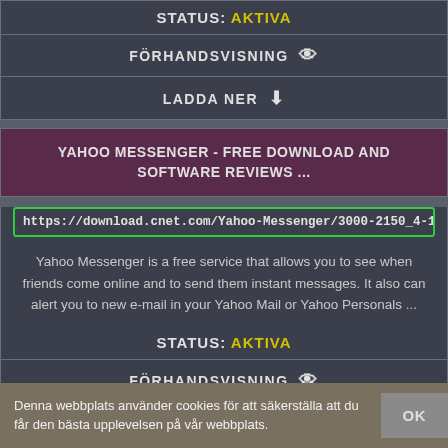STATUS: AKTIVA
FÖRHANDSVISNING
LADDA NER
YAHOO MESSENGER - FREE DOWNLOAD AND SOFTWARE REVIEWS ...
https://download.cnet.com/Yahoo-Messenger/3000-2150_4-10029188.htm
Yahoo Messenger is a free service that allows you to see when friends come online and to send them instant messages. It also can alert you to new e-mail in your Yahoo Mail or Yahoo Personals ...
STATUS: AKTIVA
FÖRHANDSVISNING
Denna webbplats använder cookies för att säkerställa att du får den bästa upplevelsen på vår webbplats.